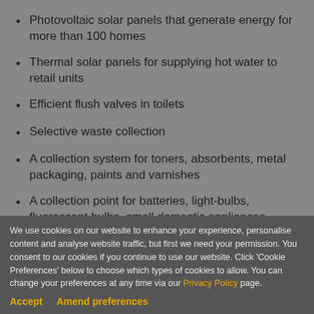Photovoltaic solar panels that generate energy for more than 100 homes
Thermal solar panels for supplying hot water to retail units
Efficient flush valves in toilets
Selective waste collection
A collection system for toners, absorbents, metal packaging, paints and varnishes
A collection point for batteries, light-bulbs, fluorescent bulbs, small domestic appliances,
We use cookies on our website to enhance your experience, personalise content and analyse website traffic, but first we need your permission. You consent to our cookies if you continue to use our website. Click 'Cookie Preferences' below to choose which types of cookies to allow. You can change your preferences at any time via our Privacy Policy page.
Accept    Amend preferences